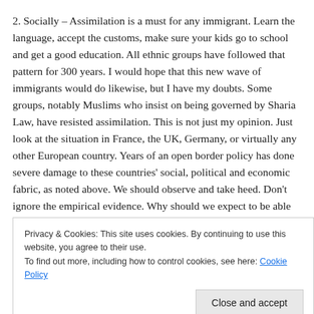2. Socially – Assimilation is a must for any immigrant. Learn the language, accept the customs, make sure your kids go to school and get a good education. All ethnic groups have followed that pattern for 300 years. I would hope that this new wave of immigrants would do likewise, but I have my doubts. Some groups, notably Muslims who insist on being governed by Sharia Law, have resisted assimilation. This is not just my opinion. Just look at the situation in France, the UK, Germany, or virtually any other European country. Years of an open border policy has done severe damage to these countries' social, political and economic fabric, as noted above. We should observe and take heed. Don't ignore the empirical evidence. Why should we expect to be able to avoid the
Privacy & Cookies: This site uses cookies. By continuing to use this website, you agree to their use.
To find out more, including how to control cookies, see here: Cookie Policy
Close and accept
gang members, criminals and other undesirables. These politicians